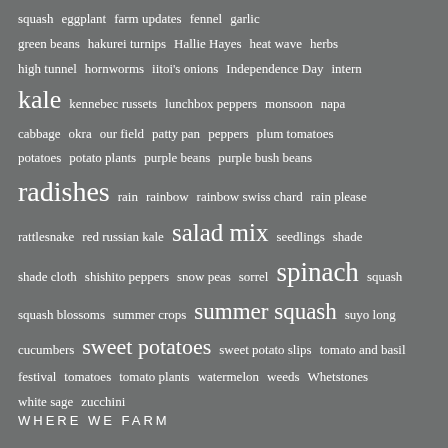squash eggplant farm updates fennel garlic green beans hakurei turnips Hallie Hayes heat wave herbs high tunnel hornworms iitoi's onions Independence Day intern kale kennebec russets lunchbox peppers monsoon napa cabbage okra our field patty pan peppers plum tomatoes potatoes potato plants purple beans purple bush beans radishes rain rainbow rainbow swiss chard rain please rattlesnake red russian kale salad mix seedlings shade shade cloth shishito peppers snow peas sorrel spinach squash squash blossoms summer crops summer squash suyo long cucumbers sweet potatoes sweet potato slips tomato and basil festival tomatoes tomato plants watermelon weeds Whetstones white sage zucchini
WHERE WE FARM